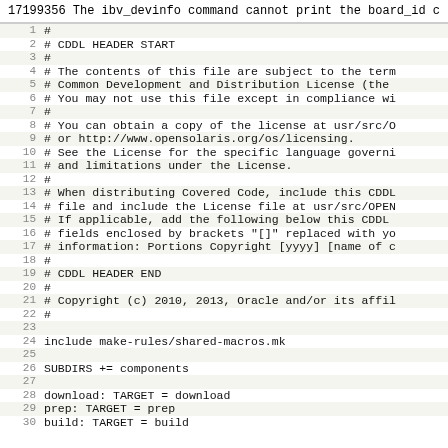17199356 The ibv_devinfo command cannot print the board_id c
1  #
2  # CDDL HEADER START
3  #
4  # The contents of this file are subject to the term
5  # Common Development and Distribution License (the
6  # You may not use this file except in compliance wi
7  #
8  # You can obtain a copy of the license at usr/src/O
9  # or http://www.opensolaris.org/os/licensing.
10 # See the License for the specific language governi
11 # and limitations under the License.
12 #
13 # When distributing Covered Code, include this CDDL
14 # file and include the License file at usr/src/OPEN
15 # If applicable, add the following below this CDDL 
16 # fields enclosed by brackets "[]" replaced with yo
17 # information: Portions Copyright [yyyy] [name of c
18 #
19 # CDDL HEADER END
20 #
21 # Copyright (c) 2010, 2013, Oracle and/or its affil
22 #
23
24 include make-rules/shared-macros.mk
25
26 SUBDIRS += components
27
28 download:        TARGET = download
29 prep:            TARGET = prep
30 build:           TARGET = build